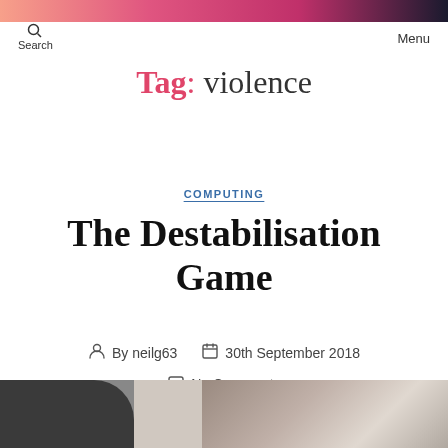Search   Menu
Tag: violence
COMPUTING
The Destabilisation Game
By neilg63   30th September 2018   No Comments
[Figure (photo): Black and white photograph partially visible at bottom of page, showing a person and a wall]